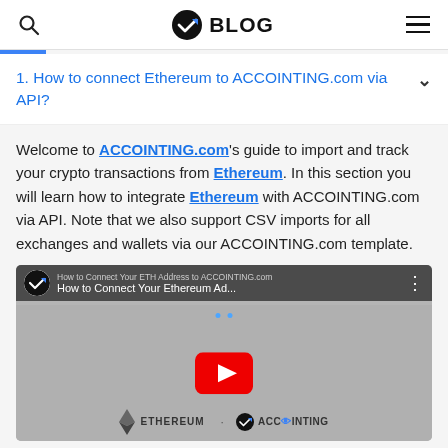BLOG
1. How to connect Ethereum to ACCOINTING.com via API?
Welcome to ACCOINTING.com's guide to import and track your crypto transactions from Ethereum. In this section you will learn how to integrate Ethereum with ACCOINTING.com via API. Note that we also support CSV imports for all exchanges and wallets via our ACCOINTING.com template.
[Figure (screenshot): YouTube video thumbnail: How to Connect Your Ethereum Ad... with ACCOINTING.com channel logo, Ethereum logo and ACCOINTING logo visible at bottom]